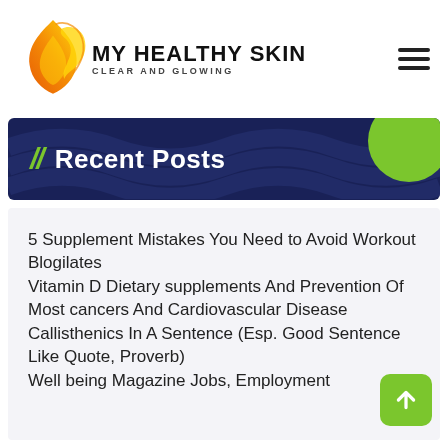[Figure (logo): My Healthy Skin - Clear and Glowing logo with flame/face illustration in orange-yellow gradient]
// Recent Posts
5 Supplement Mistakes You Need to Avoid Workout Blogilates
Vitamin D Dietary supplements And Prevention Of Most cancers And Cardiovascular Disease
Callisthenics In A Sentence (Esp. Good Sentence Like Quote, Proverb)
Well being Magazine Jobs, Employment